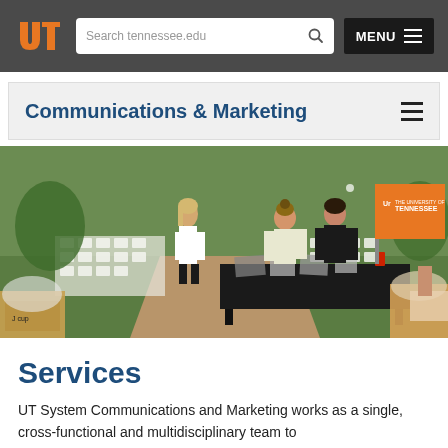UT logo | Search tennessee.edu | MENU
Communications & Marketing
[Figure (photo): Outdoor university event setup: two women arranging materials on a black-draped table, rows of white chairs on grass in background, orange UT banners visible on right side, a third person in white shirt standing nearby, boxes of printed materials in foreground]
Services
UT System Communications and Marketing works as a single, cross-functional and multidisciplinary team to